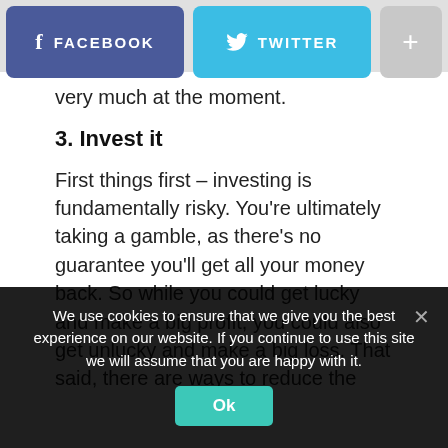[Figure (screenshot): Social share buttons bar: Facebook (blue-purple), Twitter (cyan), and a plus/more button (grey)]
very much at the moment.
3. Invest it
First things first – investing is fundamentally risky. You're ultimately taking a gamble, as there's no guarantee you'll get all your money back. So while you could get lucky and make a big profit, you could also get unlucky and make a big loss. That said, there are ways to reduce the
We use cookies to ensure that we give you the best experience on our website. If you continue to use this site we will assume that you are happy with it.